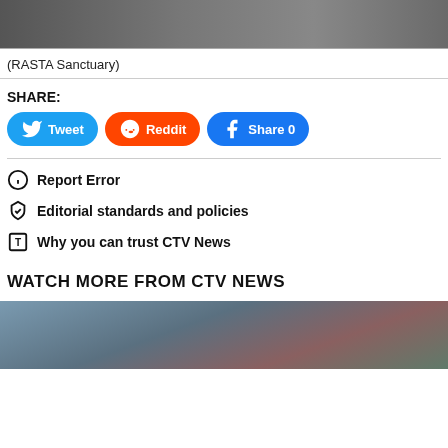[Figure (screenshot): Top portion of a video or image (partially visible), appears to be a TV news screenshot with RASTA Sanctuary text visible]
(RASTA Sanctuary)
SHARE:
Tweet | Reddit | Share 0
Report Error
Editorial standards and policies
Why you can trust CTV News
WATCH MORE FROM CTV NEWS
[Figure (screenshot): Bottom portion showing another video thumbnail with forest/fire scene]